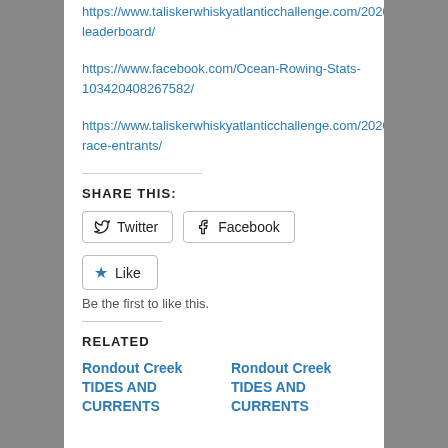https://www.taliskerwhiskyatlanticchallenge.com/2020-leaderboard/
https://www.facebook.com/Ocean-Rowing-Stats-103420408267582/
https://www.taliskerwhiskyatlanticchallenge.com/2020-race-entrants/
SHARE THIS:
Twitter  Facebook
Like
Be the first to like this.
RELATED
Rondout Creek TIDES AND CURRENTS
Rondout Creek TIDES AND CURRENTS